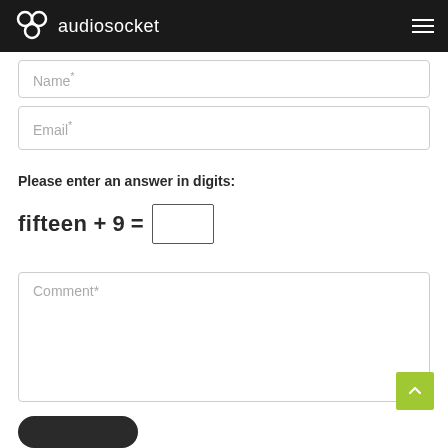audiosocket
Name*
Email*
Please enter an answer in digits:
Comment*